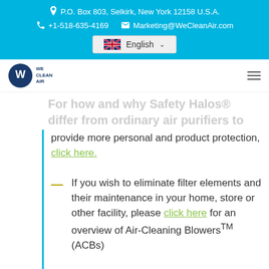P.O. Box 803, Selkirk, New York 12158 U.S.A.
+1-518-635-4169   Marketing@WeCleanAir.com
English
[Figure (logo): We Clean Air logo — circular blue W icon with WE CLEAN AIR text]
For how and why Safety Halos® differ from ordinary air purifiers to provide more personal and product protection, click here.
If you wish to eliminate filter elements and their maintenance in your home, store or other facility, please click here for an overview of Air-Cleaning Blowers™ (ACBs)
For an overview about We Clean Air click here